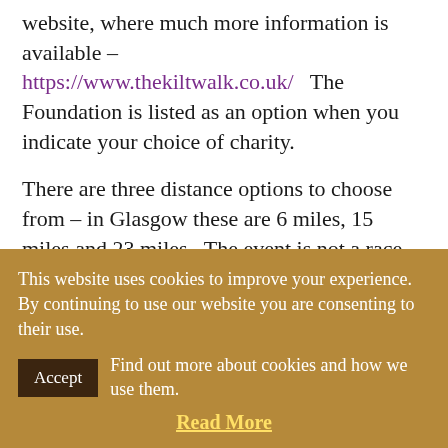website, where much more information is available – https://www.thekiltwalk.co.uk/    The Foundation is listed as an option when you indicate your choice of charity.
There are three distance options to choose from – in Glasgow these are 6 miles, 15 miles and 23 miles.  The event is not a race, and kilts are not compulsory.
Please contact info@mandelascottishmemorial.org
This website uses cookies to improve your experience. By continuing to use our website you are consenting to their use.
Find out more about cookies and how we use them.
Read More